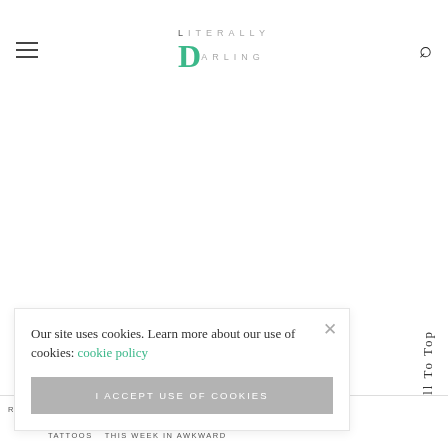Literally Darling — site header with hamburger menu and search icon
[Figure (screenshot): Large blank/white content area below header, representing main page content area]
Our site uses cookies. Learn more about our use of cookies: cookie policy
I ACCEPT USE OF COOKIES
Scroll To Top
TATTOOS   THIS WEEK IN AWKWARD   RCH   COLLEGE   LLY AWKWARD